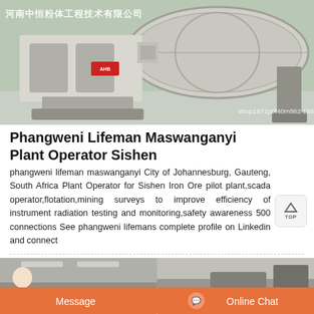[Figure (photo): Industrial ball mill machine in a factory setting with Chinese text watermark '河南中恒粉体工程技术有限公司' and URL 'shop1971p0f40m862.1688.com']
Phangweni Lifeman Maswanganyi Plant Operator Sishen
phangweni lifeman maswanganyi City of Johannesburg, Gauteng, South Africa Plant Operator for Sishen Iron Ore pilot plant,scada operator,flotation,mining surveys to improve efficiency of instrument radiation testing and monitoring,safety awareness 500 connections See phangweni lifemans complete profile on Linkedin and connect
[Figure (photo): Industrial factory interior showing machinery and equipment, with a person (customer service representative) visible on the left side]